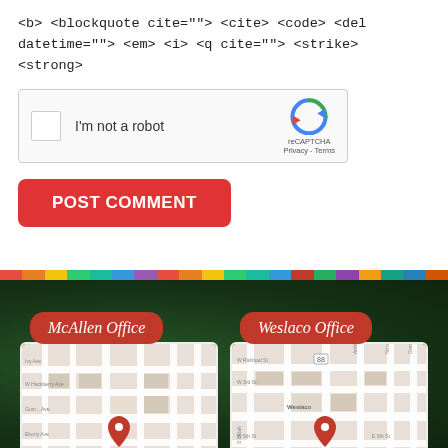<b> <blockquote cite=""> <cite> <code> <del datetime=""> <em> <i> <q cite=""> <strike> <strong>
[Figure (screenshot): reCAPTCHA widget with checkbox 'I'm not a robot' and Google reCAPTCHA logo]
[Figure (screenshot): Red POST COMMENT button]
[Figure (map): Google Map showing McAllen Office at 600 N Main St with red pin]
[Figure (map): Google Map showing Weslaco Office at 338 S Texas Blvd with red pin]